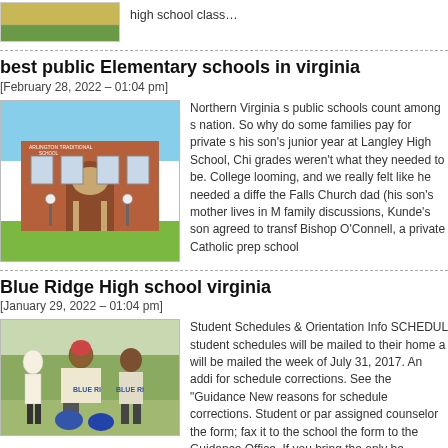[Figure (photo): Partial image at top — appears to be a basketball court or gym floor with yellow/green colors]
high school class…
best public Elementary schools in virginia
[February 28, 2022 – 01:04 pm]
[Figure (photo): Photo of Arlington Traditional School building — brick building with arched entrance]
Northern Virginia s public schools count among s nation. So why do some families pay for private s his son's junior year at Langley High School, Chi grades weren't what they needed to be. College looming, and we really felt like he needed a diffe the Falls Church dad (his son's mother lives in M family discussions, Kunde's son agreed to transf Bishop O'Connell, a private Catholic prep school
Blue Ridge High school virginia
[January 29, 2022 – 01:04 pm]
[Figure (photo): Photo of Blue Ridge high school football players kneeling on a field]
Student Schedules & Orientation Info SCHEDUL student schedules will be mailed to their home a will be mailed the week of July 31, 2017. An addi for schedule corrections. See the "Guidance New reasons for schedule corrections. Student or par assigned counselor the form; fax it to the school the form to the Guidance Office. If you bring the only be dropping it off and your assigned Guidan